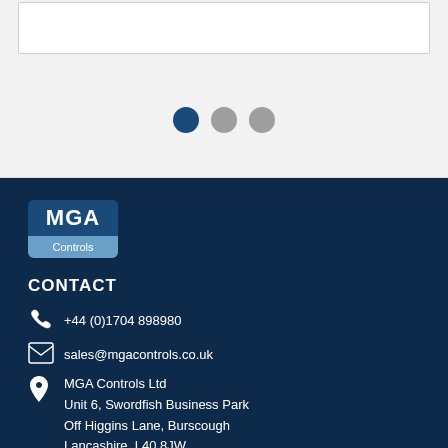[Figure (other): Carousel navigation dots: one dark blue active dot and two grey inactive dots]
[Figure (logo): MGA Controls logo — dark blue box with white bold MGA text on top and lighter blue Controls bar below]
CONTACT
+44 (0)1704 898980
sales@mgacontrols.co.uk
MGA Controls Ltd
Unit 6, Swordfish Business Park
Off Higgins Lane, Burscough
Lancashire, L40 8JW